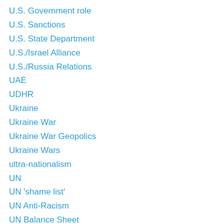U.S. Government role
U.S. Sanctions
U.S. State Department
U.S./Israel Alliance
U.S./Russia Relations
UAE
UDHR
Ukraine
Ukraine War
Ukraine War Geopolics
Ukraine Wars
ultra-nationalism
UN
UN 'shame list'
UN Anti-Racism
UN Balance Sheet
UN Charter
UN Commission of Inquiry
UN funding
UN Human Rights Council